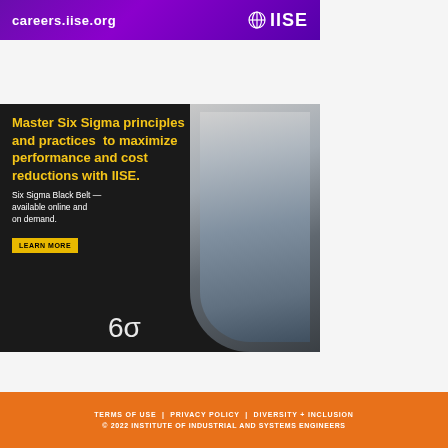[Figure (illustration): IISE careers banner with purple gradient background, showing careers.iise.org URL and IISE globe logo]
[Figure (illustration): Six Sigma IISE advertisement on dark background. Text: Master Six Sigma principles and practices to maximize performance and cost reductions with IISE. Six Sigma Black Belt — available online and on demand. LEARN MORE button. Six sigma symbol. Photo of businessman in suit.]
[Figure (illustration): Gray scroll-to-top button with upward chevron arrow]
TERMS OF USE | PRIVACY POLICY | DIVERSITY + INCLUSION © 2022 INSTITUTE OF INDUSTRIAL AND SYSTEMS ENGINEERS